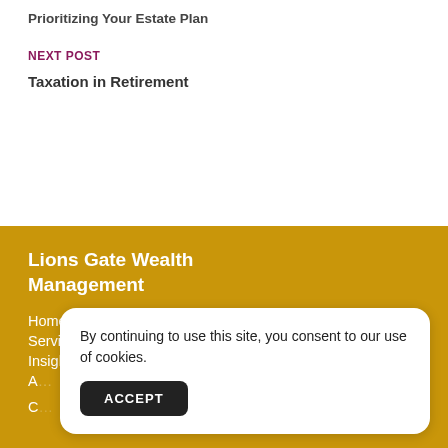Prioritizing Your Estate Plan
NEXT POST
Taxation in Retirement
Lions Gate Wealth Management
Home
Services
Insights
A…
C…
Fo…
C…
By continuing to use this site, you consent to our use of cookies.
ACCEPT